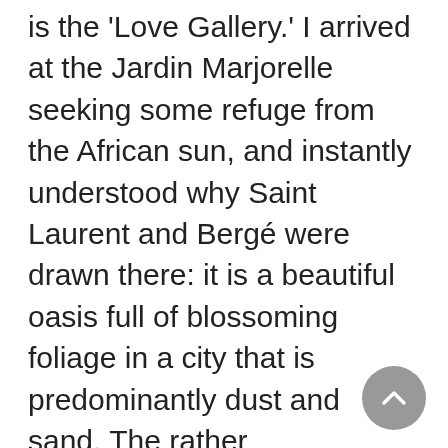is the 'Love Gallery.' I arrived at the Jardin Marjorelle seeking some refuge from the African sun, and instantly understood why Saint Laurent and Bergé were drawn there: it is a beautiful oasis full of blossoming foliage in a city that is predominantly dust and sand. The rather ambiguously named 'Love Gallery,' a tiny blue square on the garden map, caught my eye and I wondered what it could possibly hold. The tiny, one roomed building, tucked away on the edge of the garden, houses the entire collection of Saint Laurent's 'Love Cards.' He created one every year from 1970 to 2000 to send to his family, friends and